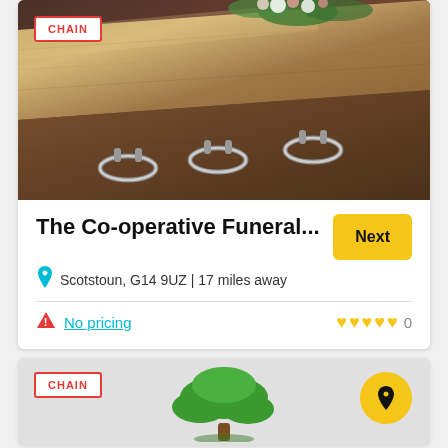[Figure (photo): Close-up photo of a dark wooden coffin/casket with silver handles and floral arrangement on top, brown blurred background]
CHAIN
The Co-operative Funeral...
Next
Scotstoun, G14 9UZ | 17 miles away
No pricing
0
[Figure (illustration): Second card with grey background showing CHAIN badge, a green tree illustration, and a yellow circular location pin icon]
CHAIN